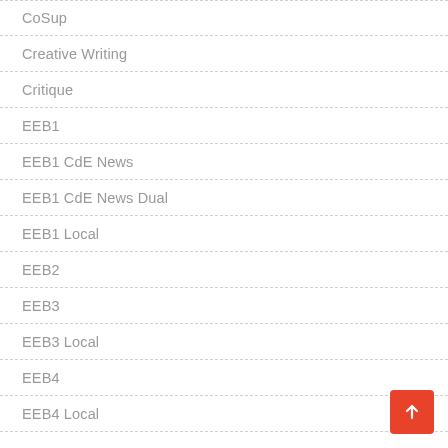CoSup
Creative Writing
Critique
EEB1
EEB1 CdE News
EEB1 CdE News Dual
EEB1 Local
EEB2
EEB3
EEB3 Local
EEB4
EEB4 Local